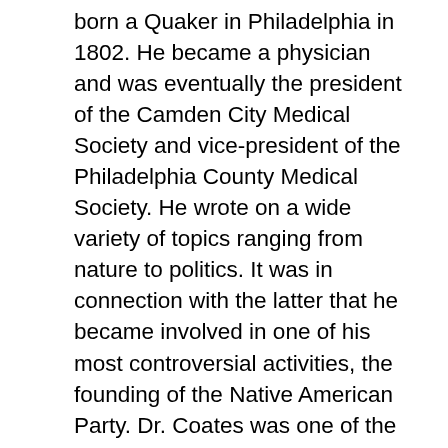born a Quaker in Philadelphia in 1802. He became a physician and was eventually the president of the Camden City Medical Society and vice-president of the Philadelphia County Medical Society. He wrote on a wide variety of topics ranging from nature to politics. It was in connection with the latter that he became involved in one of his most controversial activities, the founding of the Native American Party. Dr. Coates was one of the organizers of the party that was the result of political nativism, a strong anti-Catholic and anti-immigrant movement. Dr. Coates wrote the platform for the party's first national convention in 1845. It advocated changes in the immigration laws and special rights for native-born Americans. Coates did not move to Camden until 1847, but he remained an active member of the Native American Party for some time. After arriving in Camden he moved a number of times. During his years in Camden he was not only active in the medical society, he was also a